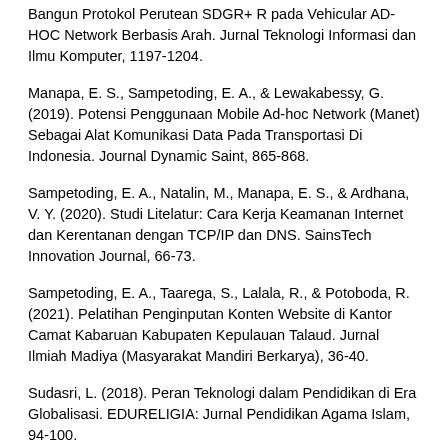Bangun Protokol Perutean SDGR+ R pada Vehicular AD-HOC Network Berbasis Arah. Jurnal Teknologi Informasi dan Ilmu Komputer, 1197-1204.
Manapa, E. S., Sampetoding, E. A., & Lewakabessy, G. (2019). Potensi Penggunaan Mobile Ad-hoc Network (Manet) Sebagai Alat Komunikasi Data Pada Transportasi Di Indonesia. Journal Dynamic Saint, 865-868.
Sampetoding, E. A., Natalin, M., Manapa, E. S., & Ardhana, V. Y. (2020). Studi Litelatur: Cara Kerja Keamanan Internet dan Kerentanan dengan TCP/IP dan DNS. SainsTech Innovation Journal, 66-73.
Sampetoding, E. A., Taarega, S., Lalala, R., & Potoboda, R. (2021). Pelatihan Penginputan Konten Website di Kantor Camat Kabaruan Kabupaten Kepulauan Talaud. Jurnal Ilmiah Madiya (Masyarakat Mandiri Berkarya), 36-40.
Sudasri, L. (2018). Peran Teknologi dalam Pendidikan di Era Globalisasi. EDURELIGIA: Jurnal Pendidikan Agama Islam, 94-100.